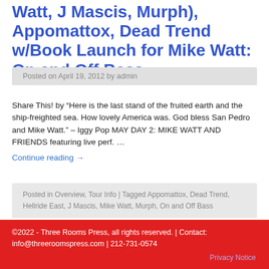Watt, J Mascis, Murph), Appomattox, Dead Trend w/Book Launch for Mike Watt: On and Off Bass
Posted on April 19, 2012 by admin
Share This! by “Here is the last stand of the fruited earth and the ship-freighted sea. How lovely America was. God bless San Pedro and Mike Watt.” – Iggy Pop MAY DAY 2: MIKE WATT AND FRIENDS featuring live perf. …
Continue reading →
Posted in Overview, Tour Info | Tagged Appomattox, Dead Trend, Hellride East, J Mascis, Mike Watt, Murph, On and Off Bass
©2022 - Three Rooms Press, all rights reserved. | Contact: info@threeroomspress.com | 212-731-0574